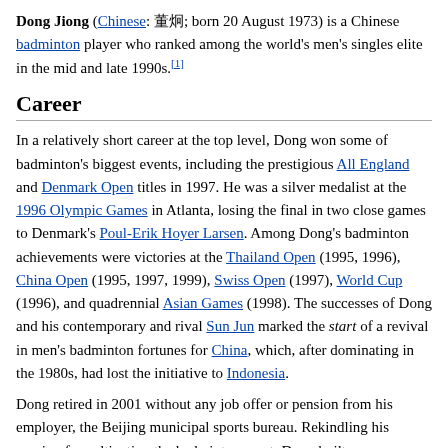Dong Jiong (Chinese: 董炯; born 20 August 1973) is a Chinese badminton player who ranked among the world's men's singles elite in the mid and late 1990s.[1]
Career
In a relatively short career at the top level, Dong won some of badminton's biggest events, including the prestigious All England and Denmark Open titles in 1997. He was a silver medalist at the 1996 Olympic Games in Atlanta, losing the final in two close games to Denmark's Poul-Erik Hoyer Larsen. Among Dong's badminton achievements were victories at the Thailand Open (1995, 1996), China Open (1995, 1997, 1999), Swiss Open (1997), World Cup (1996), and quadrennial Asian Games (1998). The successes of Dong and his contemporary and rival Sun Jun marked the start of a revival in men's badminton fortunes for China, which, after dominating in the 1980s, had lost the initiative to Indonesia.
Dong retired in 2001 without any job offer or pension from his employer, the Beijing municipal sports bureau. Rekindling his passion for cultivating the badminton sport, Dong built up a franchise that includes five amateur badminton clubs, and was hired as the head coach of China's Paralympic badminton team. Dong felt lucky he could carry his own legacy in the amateur sport